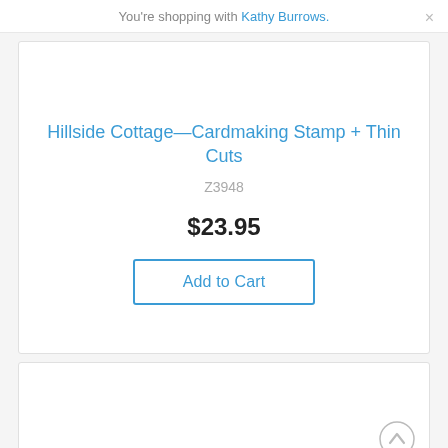You're shopping with Kathy Burrows.
Hillside Cottage—Cardmaking Stamp + Thin Cuts
Z3948
$23.95
Add to Cart